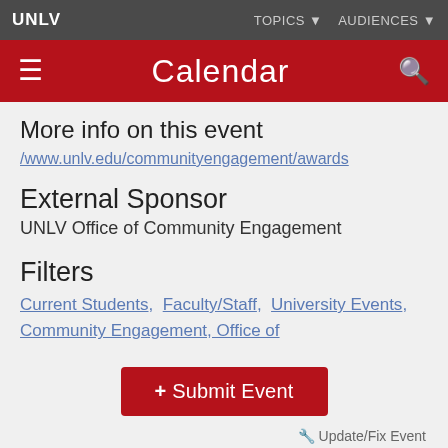UNLV | TOPICS ▼  AUDIENCES ▼
≡  Calendar  🔍
More info on this event
/www.unlv.edu/communityengagement/awards
External Sponsor
UNLV Office of Community Engagement
Filters
Current Students,  Faculty/Staff,  University Events,  Community Engagement, Office of
+ Submit Event
🔧 Update/Fix Event